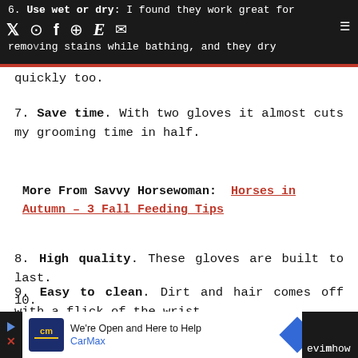6. Use wet or dry: I found they work great for removing stains while bathing, and they dry quickly too.
7. Save time. With two gloves it almost cuts my grooming time in half.
More From Savvy Horsewoman: Horses in Autumn – 3 Fall Feeding Tips
8. High quality. These gloves are built to last.
9. Easy to clean. Dirt and hair comes off with a flick of the wrist.
We're Open and Here to Help CarMax [ad] 10. [partially visible]